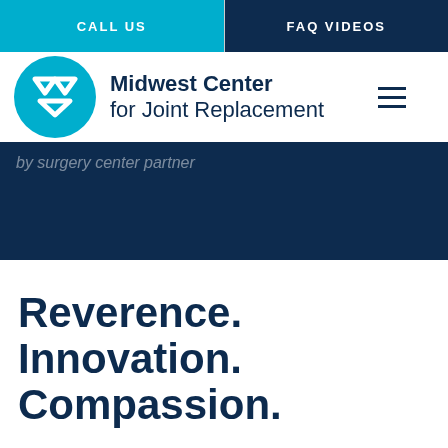CALL US | FAQ VIDEOS
[Figure (logo): Midwest Center for Joint Replacement circular logo with stylized MW initials in white on cyan blue background]
Midwest Center for Joint Replacement
by surgery center partner
Reverence. Innovation. Compassion.
Should you need surgery, you can rest assured that you